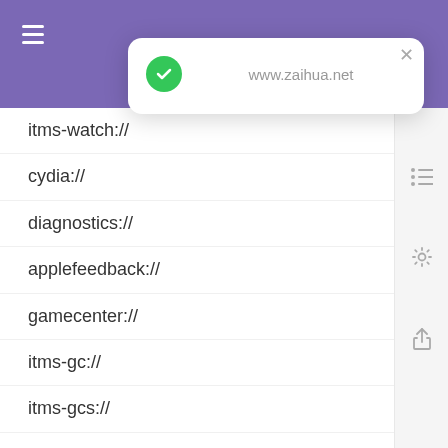[Figure (screenshot): Purple header bar with hamburger menu icon on the left]
[Figure (screenshot): White modal card popup with green checkmark circle, URL text 'www.zaihua.net', and close X button]
itms-watch://
cydia://
diagnostics://
applefeedback://
gamecenter://
itms-gc://
itms-gcs://
facetime-audio://
facetime-audio-prompt://
tel://
telprompt://
map://
mapitem://
maps://